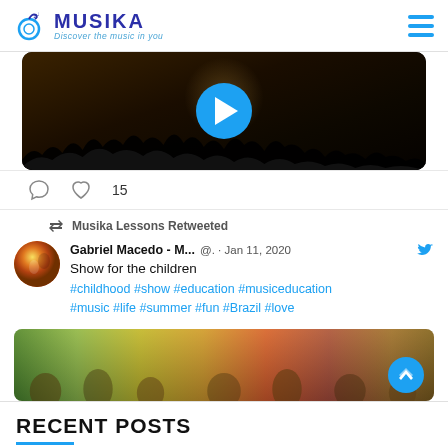MUSIKA — Discover the music in you
[Figure (photo): Video thumbnail showing a concert/music show on stage with audience, with a play button overlay]
15 (heart/like count)
Musika Lessons Retweeted
Gabriel Macedo - M... @. · Jan 11, 2020
Show for the children
#childhood #show #education #musiceducation #music #life #summer #fun #Brazil #love
[Figure (photo): Photo of children and adults at an outdoor event/show with colorful chairs visible]
RECENT POSTS